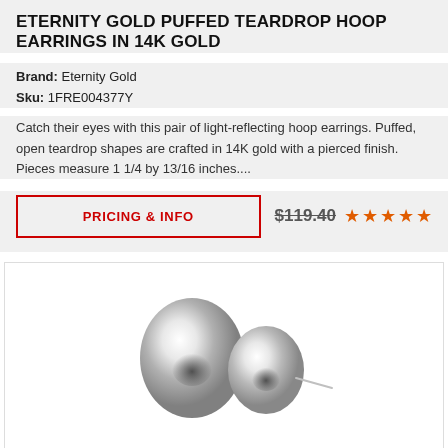ETERNITY GOLD PUFFED TEARDROP HOOP EARRINGS IN 14K GOLD
Brand: Eternity Gold
Sku: 1FRE004377Y
Catch their eyes with this pair of light-reflecting hoop earrings. Puffed, open teardrop shapes are crafted in 14K gold with a pierced finish. Pieces measure 1 1/4 by 13/16 inches....
PRICING & INFO
$119.40 ★★★★★
[Figure (photo): Two silver oval ball stud earrings, one with post visible, displayed on white background]